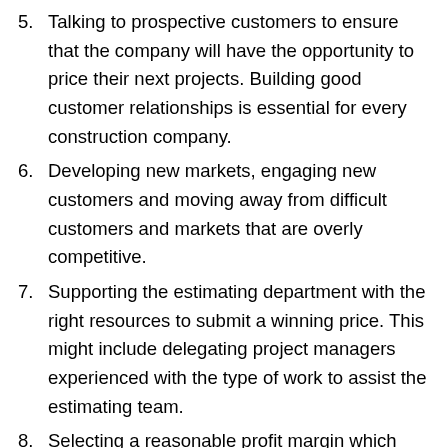5. Talking to prospective customers to ensure that the company will have the opportunity to price their next projects. Building good customer relationships is essential for every construction company.
6. Developing new markets, engaging new customers and moving away from difficult customers and markets that are overly competitive.
7. Supporting the estimating department with the right resources to submit a winning price. This might include delegating project managers experienced with the type of work to assist the estimating team.
8. Selecting a reasonable profit margin which won’t make the price uncompetitive but one which will maximise the company’s profits.
9. Reviewing bids before they are submitted to ensure that the company has sufficient resources, the contract